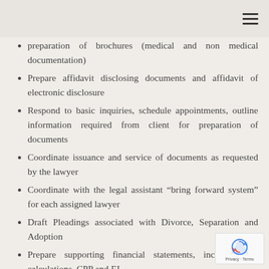preparation of brochures (medical and non medical documentation)
Prepare affidavit disclosing documents and affidavit of electronic disclosure
Respond to basic inquiries, schedule appointments, outline information required from client for preparation of documents
Coordinate issuance and service of documents as requested by the lawyer
Coordinate with the legal assistant “bring forward system” for each assigned lawyer
Draft Pleadings associated with Divorce, Separation and Adoption
Prepare supporting financial statements, including tax calculations, CPP and EI
Prepare spreadsheets related to client files